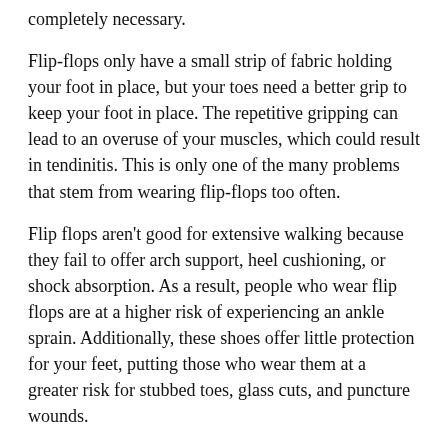completely necessary.
Flip-flops only have a small strip of fabric holding your foot in place, but your toes need a better grip to keep your foot in place. The repetitive gripping can lead to an overuse of your muscles, which could result in tendinitis. This is only one of the many problems that stem from wearing flip-flops too often.
Flip flops aren't good for extensive walking because they fail to offer arch support, heel cushioning, or shock absorption. As a result, people who wear flip flops are at a higher risk of experiencing an ankle sprain. Additionally, these shoes offer little protection for your feet, putting those who wear them at a greater risk for stubbed toes, glass cuts, and puncture wounds.
Although flip flops aren't recommended for everyday use by anyone, it is especially important for diabetics to avoid them. A diabetic foot injury can easily become very serious, and it may even lead to amputation.
If you are experiencing pain from wearing flip-flops, you shouldn't be hesitant to replace them with a more comfortable shoe that offers more support. If your flip-flop foot pain doesn't go away, you should seek assistance from a podiatrist.